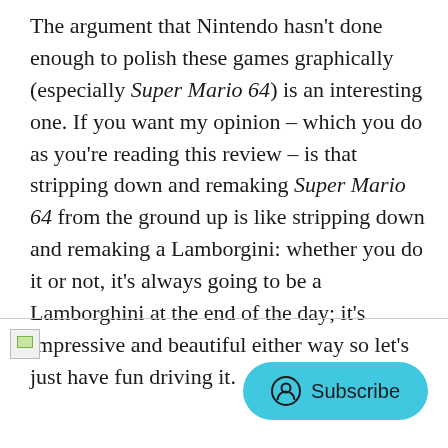The argument that Nintendo hasn't done enough to polish these games graphically (especially Super Mario 64) is an interesting one. If you want my opinion – which you do as you're reading this review – is that stripping down and remaking Super Mario 64 from the ground up is like stripping down and remaking a Lamborgini: whether you do it or not, it's always going to be a Lamborghini at the end of the day; it's impressive and beautiful either way so let's just have fun driving it.
[Figure (other): Broken image placeholder icon]